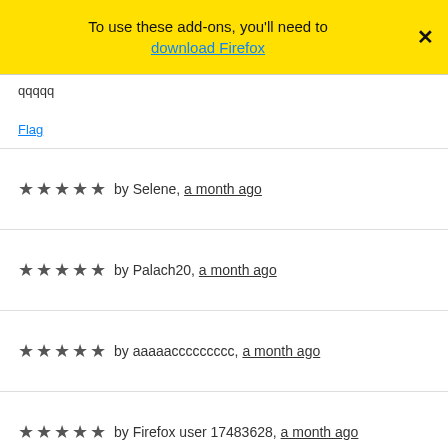To use these add-ons, you'll need to download Firefox
qqqqq
Flag
★★★★★ by Selene, a month ago
★★★★★ by Palach20, a month ago
★★★★★ by aaaaaccccccccc, a month ago
★★★★★ by Firefox user 17483628, a month ago
★★★★★ by Firefox user 14310880, 2 months ago